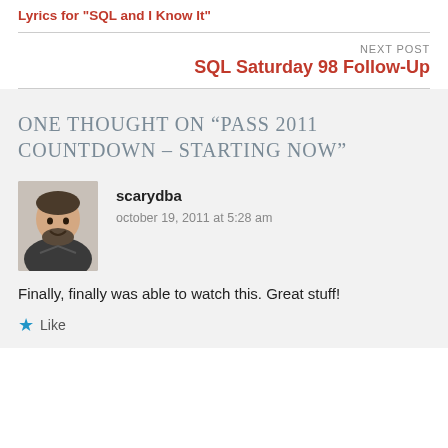Lyrics for "SQL and I Know It"
NEXT POST
SQL Saturday 98 Follow-Up
ONE THOUGHT ON “PASS 2011 COUNTDOWN – STARTING NOW”
scarydba
october 19, 2011 at 5:28 am
Finally, finally was able to watch this. Great stuff!
Like